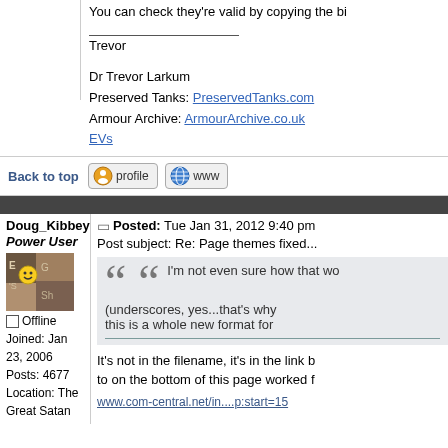You can check they're valid by copying the bi
Trevor

Dr Trevor Larkum
Preserved Tanks: PreservedTanks.com
Armour Archive: ArmourArchive.co.uk
EVs
Back to top
[Figure (screenshot): Profile and WWW buttons]
Doug_Kibbey
Power User
[Figure (photo): User avatar photo showing chalk/blackboard with smiley face]
Offline
Joined: Jan 23, 2006
Posts: 4677
Location: The Great Satan
Posted: Tue Jan 31, 2012 9:40 pm
Post subject: Re: Page themes fixed...
I'm not even sure how that wo (underscores, yes...that's why this is a whole new format for
It's not in the filename, it's in the link b to on the bottom of this page worked f
www.com-central.net/in....p:start=15